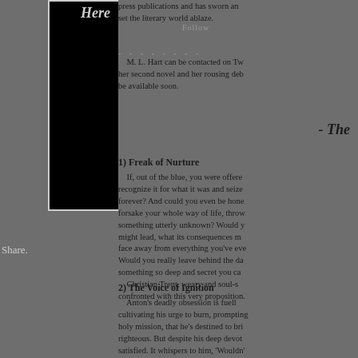[Figure (illustration): Book cover with black background and text 'Here' at top in gray italic lettering]
Share.
press publications and has sworn an set the literary world ablaze.
Follow
M. L. Hart can be contacted on Tw her second novel and her rousing deb be available soon.
- The
1) Freak of Nurture
If, out of the blue, you were offere recognize it for what it was and seize forever? And could you even be hone forsake your whole way of life, throw something utterly unknown? Would y might lead, what its consequences m face away from everything you've eve Would you really leave behind the da something so deep and secret you ca Christian Trent, weary and soul-s confronted with this very proposition.
2) The Voice of Ignition
Anton's deadly obsession is fuell cultivating his urge to burn, prompting holy mission, that he's destined to bri righteous. But despite his deep devot satisfied. It whispers to him, 'Wouldn' cannot help but agree. And so the voi